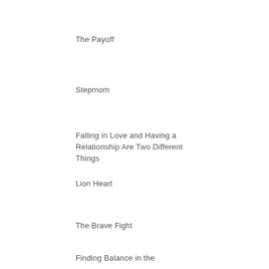The Payoff
Stepmom
Falling in Love and Having a Relationship Are Two Different Things
Lion Heart
The Brave Fight
Finding Balance in the